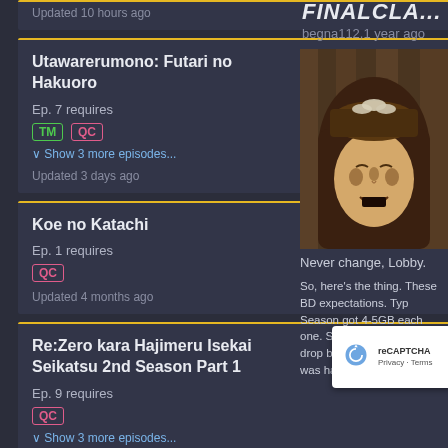Updated 10 hours ago   Summer 2022
Utawarerumono: Futari no Hakuoro
Ep. 7 requires
TM QC
Show 3 more episodes...
Updated 3 days ago   Summer 2022
Koe no Katachi
Ep. 1 requires
QC
Updated 4 months ago   Summer 2016
Re:Zero kara Hajimeru Isekai Seikatsu 2nd Season Part 1
Ep. 9 requires
QC
Show 3 more episodes...
Updated 1 year ago   Summer 2020
TV Batches
FINALCLA...
begna112,1 year ago
[Figure (screenshot): Anime screenshot showing a character with long dark hair and markings on face, eyes closed, mouth open, against a wooden background]
Never change, Lobby.
So, here's the thing. These BD expectations. Typ Season got 4-5GB each one. So desp season, they drop bloated it a bit until I was ha